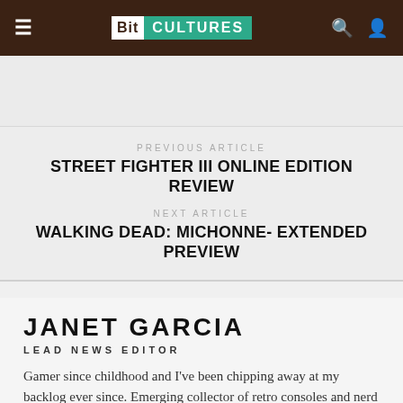Bit Cultures
PREVIOUS ARTICLE
STREET FIGHTER III ONLINE EDITION REVIEW
NEXT ARTICLE
WALKING DEAD: MICHONNE- EXTENDED PREVIEW
JANET GARCIA
LEAD NEWS EDITOR
Gamer since childhood and I've been chipping away at my backlog ever since. Emerging collector of retro consoles and nerd decor. Follow me on twitter for gaming session live-tweets